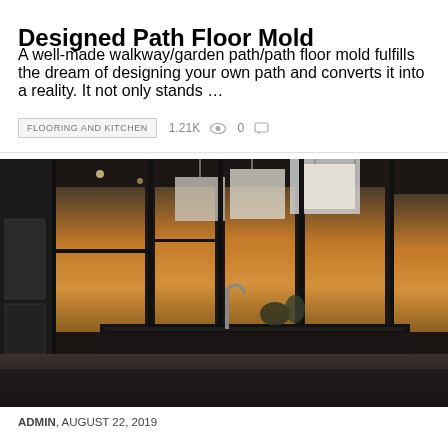Designed Path Floor Mold
A well-made walkway/garden path/path floor mold fulfills the dream of designing your own path and converts it into a reality. It not only stands …
FLOORING AND KITCHEN   1.21K 👁  0 💬
[Figure (photo): Interior rendering of a dark modern kitchen with floor-to-ceiling windows showing a sunset, pendant lights, and a kitchen island]
ADMIN, AUGUST 22, 2019